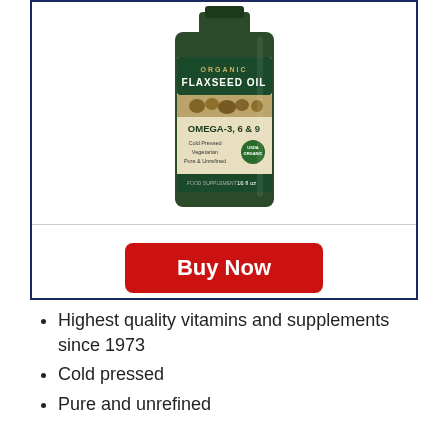[Figure (photo): Bottle of Organic Flaxseed Oil with label showing OMEGA-3, 6 & 9, Cold Pressed, Vegetarian, Pure & Unrefined, 16 fl oz, USDA Organic seal]
Buy Now
Highest quality vitamins and supplements since 1973
Cold pressed
Pure and unrefined